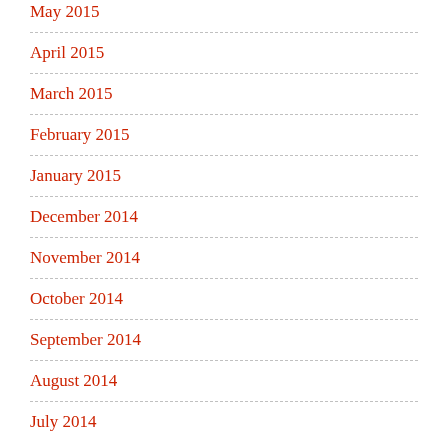May 2015
April 2015
March 2015
February 2015
January 2015
December 2014
November 2014
October 2014
September 2014
August 2014
July 2014